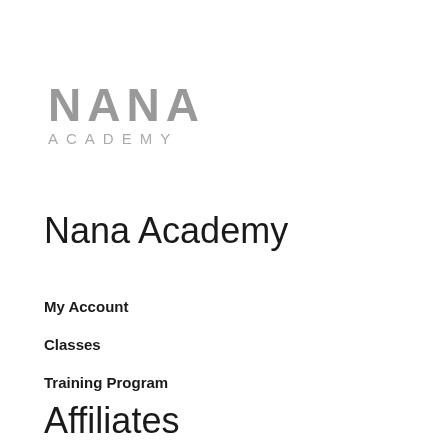[Figure (logo): NANA ACADEMY logo in gray uppercase letters]
Nana Academy
My Account
Classes
Training Program
Affiliates